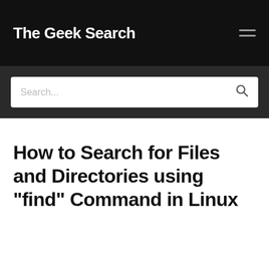The Geek Search
Search...
How to Search for Files and Directories using "find" Command in Linux